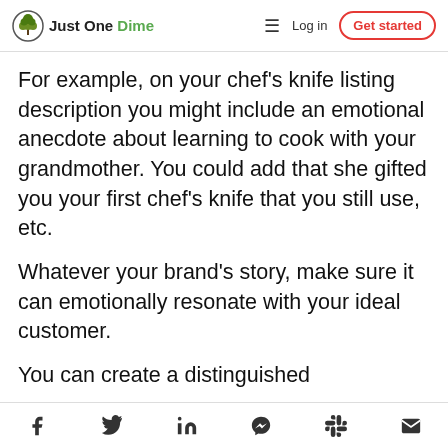Just One Dime | Log in | Get started
For example, on your chef’s knife listing description you might include an emotional anecdote about learning to cook with your grandmother. You could add that she gifted you your first chef’s knife that you still use, etc.
Whatever your brand’s story, make sure it can emotionally resonate with your ideal customer.
You can create a distinguished
Social share icons: Facebook, Twitter, LinkedIn, Messenger, Slack, Email